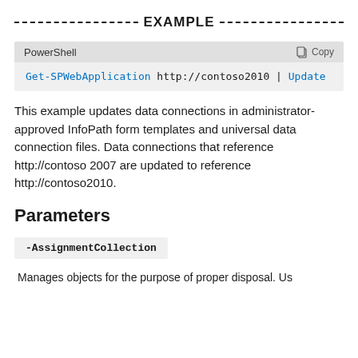--------------------EXAMPLE--------------------
[Figure (screenshot): PowerShell code block with header showing 'PowerShell' label and 'Copy' button. Code: Get-SPWebApplication http://contoso2010 | Update...]
This example updates data connections in administrator-approved InfoPath form templates and universal data connection files. Data connections that reference http://contoso 2007 are updated to reference http://contoso2010.
Parameters
-AssignmentCollection
Manages objects for the purpose of proper disposal. Us...